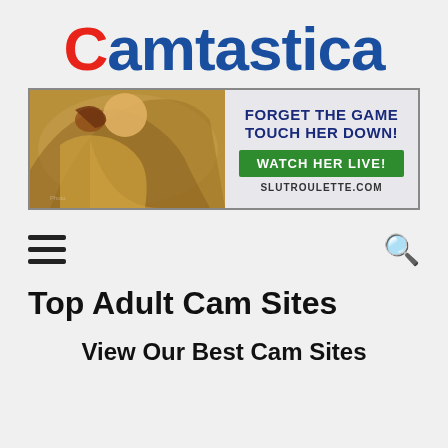Camtastica
[Figure (photo): Advertisement banner for SlutRoulette.com showing a blonde woman in football gear. Text reads: FORGET THE GAME TOUCH HER DOWN! WATCH HER LIVE! SLUTROULETTE.COM]
[Figure (infographic): Navigation bar with hamburger menu icon on the left and search icon on the right]
Top Adult Cam Sites
View Our Best Cam Sites